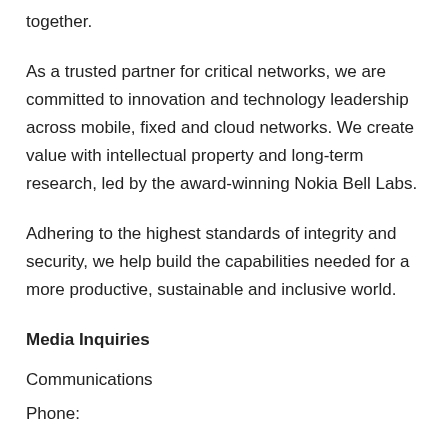together.
As a trusted partner for critical networks, we are committed to innovation and technology leadership across mobile, fixed and cloud networks. We create value with intellectual property and long-term research, led by the award-winning Nokia Bell Labs.
Adhering to the highest standards of integrity and security, we help build the capabilities needed for a more productive, sustainable and inclusive world.
Media Inquiries
Communications
Phone: …